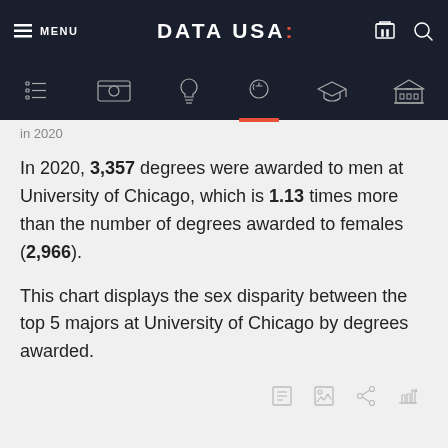DATA USA:
in 2020
In 2020, 3,357 degrees were awarded to men at University of Chicago, which is 1.13 times more than the number of degrees awarded to females (2,966).
This chart displays the sex disparity between the top 5 majors at University of Chicago by degrees awarded.